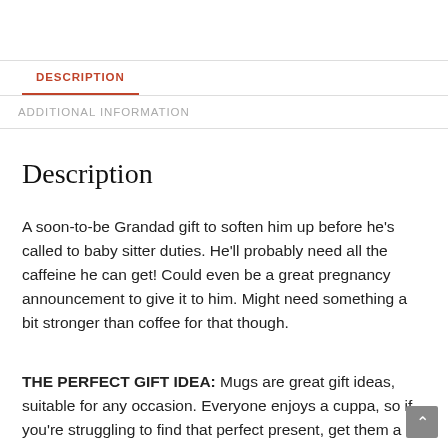DESCRIPTION
ADDITIONAL INFORMATION
Description
A soon-to-be Grandad gift to soften him up before he's called to baby sitter duties. He'll probably need all the caffeine he can get! Could even be a great pregnancy announcement to give it to him. Might need something a bit stronger than coffee for that though.
THE PERFECT GIFT IDEA: Mugs are great gift ideas, suitable for any occasion. Everyone enjoys a cuppa, so if you're struggling to find that perfect present, get them a mug to sip